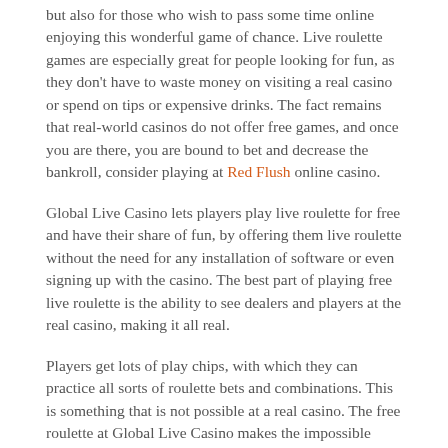but also for those who wish to pass some time online enjoying this wonderful game of chance. Live roulette games are especially great for people looking for fun, as they don't have to waste money on visiting a real casino or spend on tips or expensive drinks. The fact remains that real-world casinos do not offer free games, and once you are there, you are bound to bet and decrease the bankroll, consider playing at Red Flush online casino.
Global Live Casino lets players play live roulette for free and have their share of fun, by offering them live roulette without the need for any installation of software or even signing up with the casino. The best part of playing free live roulette is the ability to see dealers and players at the real casino, making it all real.
Players get lots of play chips, with which they can practice all sorts of roulette bets and combinations. This is something that is not possible at a real casino. The free roulette at Global Live Casino makes the impossible possible, you can also try Play United's online roulette game!